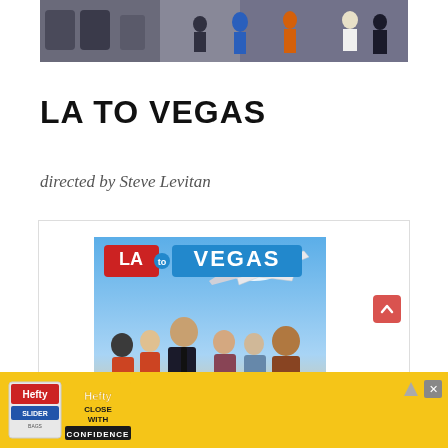[Figure (photo): Top strip image showing airport/airplane interior scene with people and luggage]
LA TO VEGAS
directed by Steve Levitan
[Figure (photo): LA to Vegas TV show promotional poster showing cast members including a pilot and flight crew with an airplane in the background]
[Figure (photo): Hefty brand advertisement banner: Hefty Slider bags - Close With Confidence]